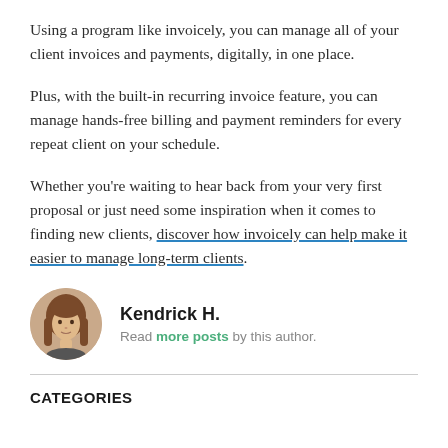Using a program like invoicely, you can manage all of your client invoices and payments, digitally, in one place.
Plus, with the built-in recurring invoice feature, you can manage hands-free billing and payment reminders for every repeat client on your schedule.
Whether you’re waiting to hear back from your very first proposal or just need some inspiration when it comes to finding new clients, discover how invoicely can help make it easier to manage long-term clients.
[Figure (photo): Circular avatar photo of author Kendrick H., a woman with long brown hair]
Kendrick H.
Read more posts by this author.
CATEGORIES